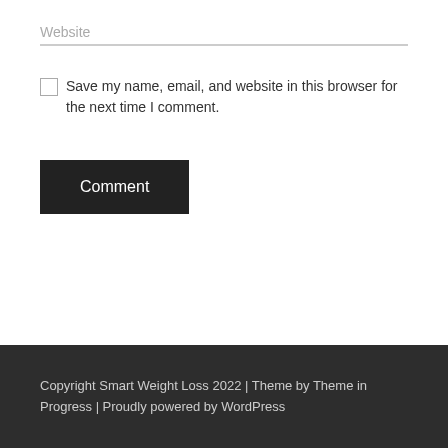Website
Save my name, email, and website in this browser for the next time I comment.
Comment
Copyright Smart Weight Loss 2022 | Theme by Theme in Progress | Proudly powered by WordPress